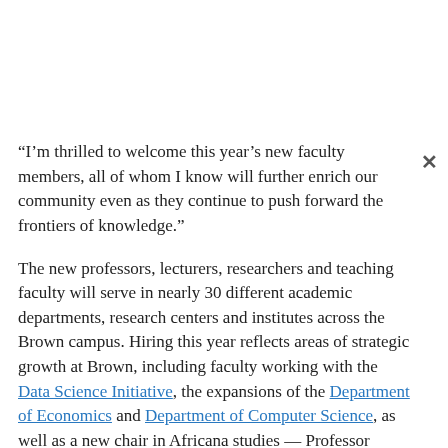“I’m thrilled to welcome this year’s new faculty members, all of whom I know will further enrich our community even as they continue to push forward the frontiers of knowledge.”
The new professors, lecturers, researchers and teaching faculty will serve in nearly 30 different academic departments, research centers and institutes across the Brown campus. Hiring this year reflects areas of strategic growth at Brown, including faculty working with the Data Science Initiative, the expansions of the Department of Economics and Department of Computer Science, as well as a new chair in Africana studies — Professor Noliwe Rooks, who served as this year’s keynote speaker for Opening Convocation.
A large proportion of people in this year’s cohort are from groups that are historically underrepresented in higher education, reflecting a commitment to diversity and inclusion